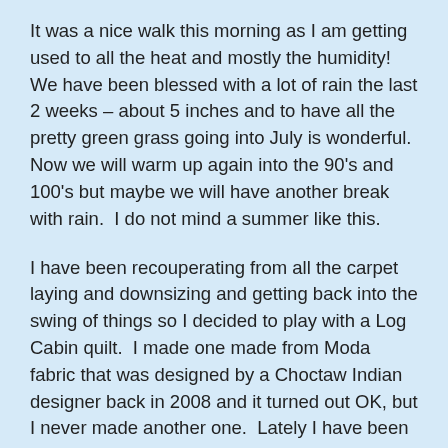It was a nice walk this morning as I am getting used to all the heat and mostly the humidity!  We have been blessed with a lot of rain the last 2 weeks – about 5 inches and to have all the pretty green grass going into July is wonderful.  Now we will warm up again into the 90's and 100's but maybe we will have another break with rain.  I do not mind a summer like this.
I have been recouperating from all the carpet laying and downsizing and getting back into the swing of things so I decided to play with a Log Cabin quilt.  I made one made from Moda fabric that was designed by a Choctaw Indian designer back in 2008 and it turned out OK, but I never made another one.  Lately I have been viewing all the beautiful Log Cabin quilts on different blogs, thought it was time for me to partake.  I have made such highly technical quilts and one would think that a Log Cabin block would be so